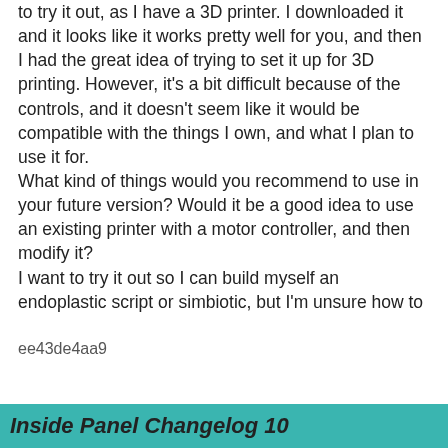to try it out, as I have a 3D printer. I downloaded it and it looks like it works pretty well for you, and then I had the great idea of trying to set it up for 3D printing. However, it's a bit difficult because of the controls, and it doesn't seem like it would be compatible with the things I own, and what I plan to use it for.
What kind of things would you recommend to use in your future version? Would it be a good idea to use an existing printer with a motor controller, and then modify it?
I want to try it out so I can build myself an endoplastic script or simbiotic, but I'm unsure how to
ee43de4aa9
Inside Panel Changelog 10